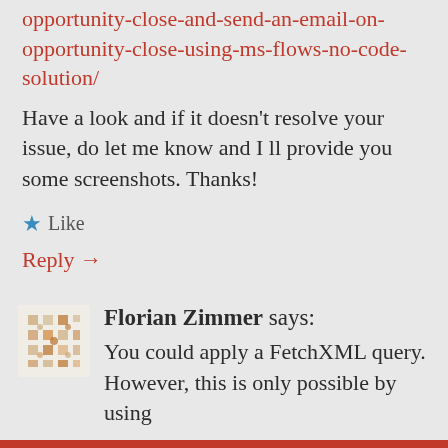opportunity-close-and-send-an-email-on-opportunity-close-using-ms-flows-no-code-solution/
Have a look and if it doesn't resolve your issue, do let me know and I ll provide you some screenshots. Thanks!
★ Like
Reply →
Florian Zimmer says:
You could apply a FetchXML query. However, this is only possible by using